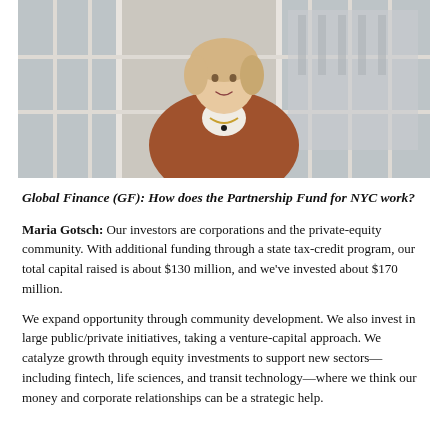[Figure (photo): Portrait photo of a blonde woman in a brown/rust jacket and white turtleneck, seated near windows in an office building, smiling at the camera.]
Global Finance (GF): How does the Partnership Fund for NYC work?
Maria Gotsch: Our investors are corporations and the private-equity community. With additional funding through a state tax-credit program, our total capital raised is about $130 million, and we've invested about $170 million.
We expand opportunity through community development. We also invest in large public/private initiatives, taking a venture-capital approach. We catalyze growth through equity investments to support new sectors—including fintech, life sciences, and transit technology—where we think our money and corporate relationships can be a strategic help.